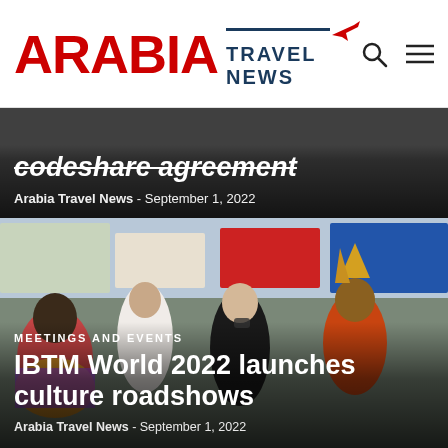ARABIA TRAVEL NEWS
codeshare agreement
Arabia Travel News - September 1, 2022
[Figure (photo): Trade show or travel expo floor with people in cultural attire and masks sitting and interacting, colorful banners and exhibition stands in background]
MEETINGS AND EVENTS
IBTM World 2022 launches culture roadshows
Arabia Travel News - September 1, 2022